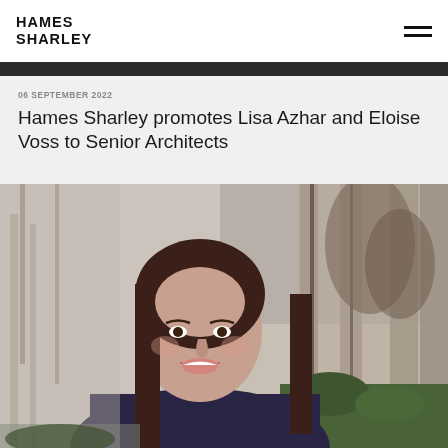Hames Sharley
06 SEPTEMBER 2022
Hames Sharley promotes Lisa Azhar and Eloise Voss to Senior Architects
[Figure (photo): Portrait photo of a woman with dark hair smiling, seated outdoors in front of a modern building with trees and greenery. She is wearing a dark navy top.]